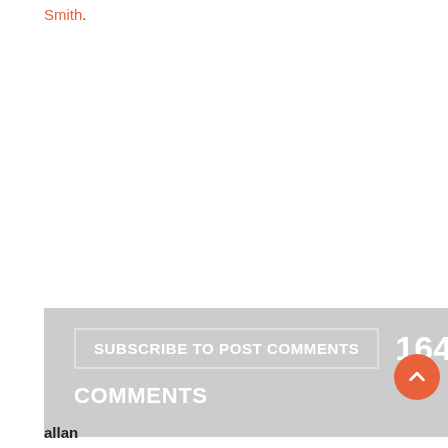Smith.
SUBSCRIBE TO POST COMMENTS   164
COMMENTS
allan